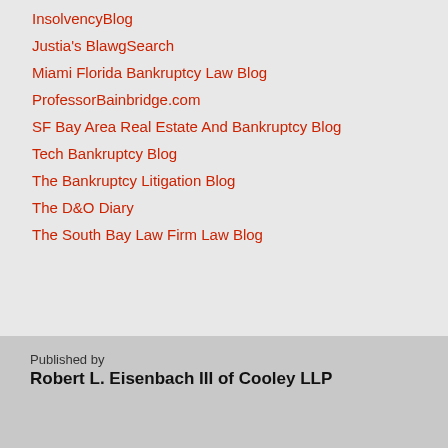InsolvencyBlog
Justia's BlawgSearch
Miami Florida Bankruptcy Law Blog
ProfessorBainbridge.com
SF Bay Area Real Estate And Bankruptcy Blog
Tech Bankruptcy Blog
The Bankruptcy Litigation Blog
The D&O Diary
The South Bay Law Firm Law Blog
Published by
Robert L. Eisenbach III of Cooley LLP